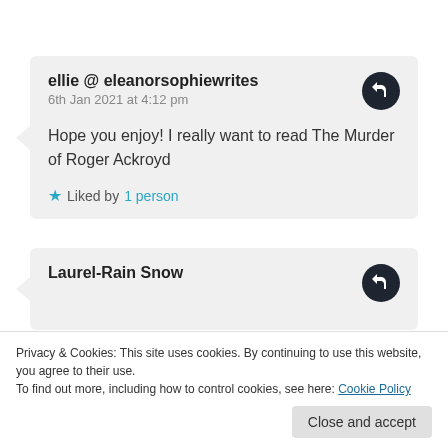ellie @ eleanorsophiewrites
6th Jan 2021 at 4:12 pm
Hope you enjoy! I really want to read The Murder of Roger Ackroyd
Liked by 1 person
Laurel-Rain Snow
Privacy & Cookies: This site uses cookies. By continuing to use this website, you agree to their use.
To find out more, including how to control cookies, see here: Cookie Policy
Close and accept
Liked by 1 person